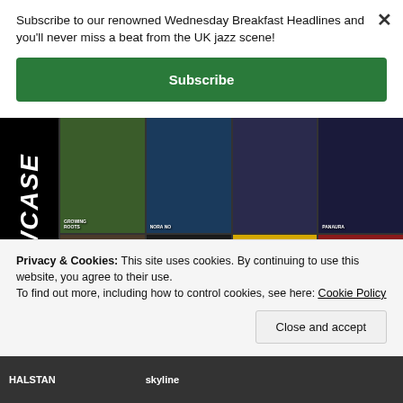Subscribe to our renowned Wednesday Breakfast Headlines and you'll never miss a beat from the UK jazz scene!
Subscribe
[Figure (screenshot): Album cover grid with 8 jazz album covers arranged in 2 rows of 4, with 'SHOWCASE' written vertically on the left side in white on black background. Top row includes: Growing Roots, Nora No, and other jazz albums. Bottom row includes: Lynne Arriale Trio, Humphrey Lyttelton tribute, Hanna, and Beverley Sterne album covers.]
Privacy & Cookies: This site uses cookies. By continuing to use this website, you agree to their use.
To find out more, including how to control cookies, see here: Cookie Policy
Close and accept
[Figure (screenshot): Bottom strip showing album artwork including Halstan and Skyline labels]